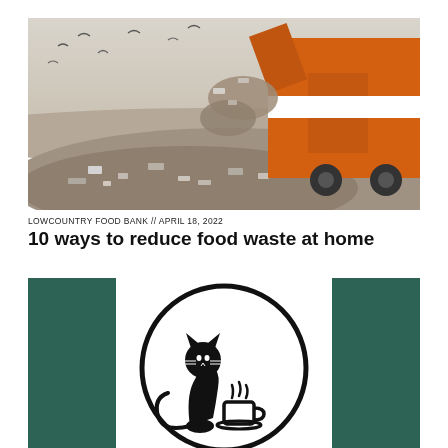[Figure (photo): Orange garbage truck dumping waste at a landfill, with seagulls flying overhead and a large mound of mixed trash below]
LOWCOUNTRY FOOD BANK // APRIL 18, 2022
10 ways to reduce food waste at home
[Figure (logo): Circular logo with a black outline circle, featuring a cat silhouette next to a steaming coffee cup, on a white background with dark green rectangular panels on the left and right sides]